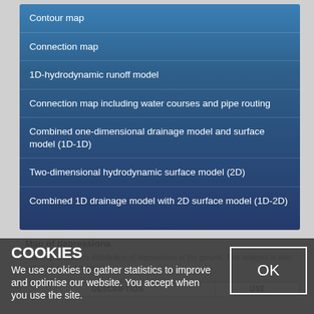Contour map
Connection map
1D-hydrodynamic runoff model
Connection map including water courses and pipe routing
Combined one-dimensional drainage model and surface model (1D-1D)
Two-dimensional hydrodynamic surface model (2D)
Combined 1D drainage model with 2D surface model (1D-2D)
Map of depressions
The map shows the distribution of depressions in the ground. This analysis is also called blue-spot mapping
| DESCRIPTION | USE |
| --- | --- |
COOKIES
We use cookies to gather statistics to improve and optimise our website. You accept when you use the site.
OK